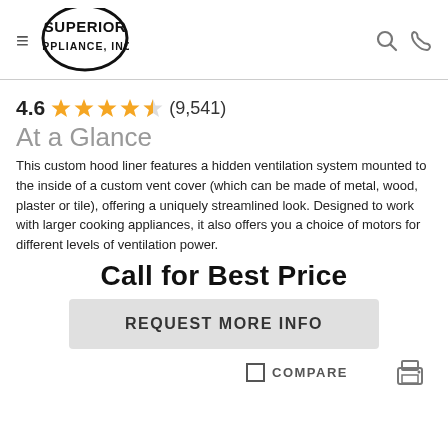Superior Appliance, Inc. — navigation header with hamburger menu, logo, search and phone icons
4.6 ★★★★✩ (9,541)
At a Glance
This custom hood liner features a hidden ventilation system mounted to the inside of a custom vent cover (which can be made of metal, wood, plaster or tile), offering a uniquely streamlined look. Designed to work with larger cooking appliances, it also offers you a choice of motors for different levels of ventilation power.
Call for Best Price
REQUEST MORE INFO
COMPARE